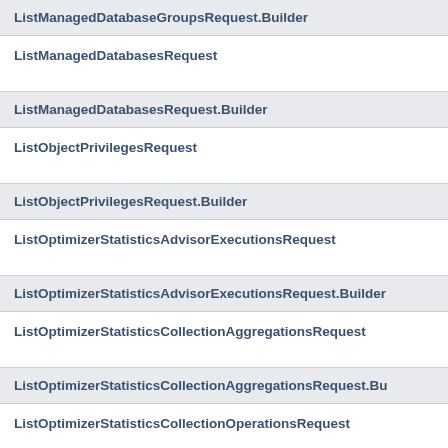ListManagedDatabaseGroupsRequest.Builder
ListManagedDatabasesRequest
ListManagedDatabasesRequest.Builder
ListObjectPrivilegesRequest
ListObjectPrivilegesRequest.Builder
ListOptimizerStatisticsAdvisorExecutionsRequest
ListOptimizerStatisticsAdvisorExecutionsRequest.Builder
ListOptimizerStatisticsCollectionAggregationsRequest
ListOptimizerStatisticsCollectionAggregationsRequest.Bu
ListOptimizerStatisticsCollectionOperationsRequest
ListOptimizerStatisticsCollectionOperationsRequest.Buil